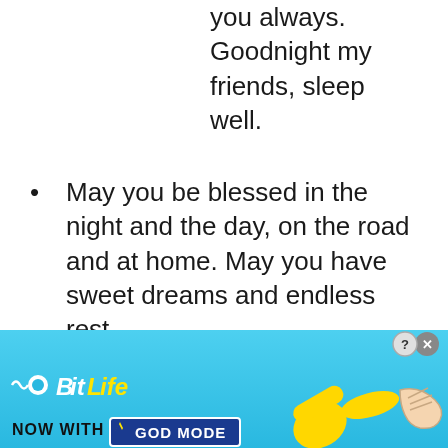you always. Goodnight my friends, sleep well.
May you be blessed in the night and the day, on the road and at home. May you have sweet dreams and endless rest.
[Figure (infographic): BitLife advertisement banner — 'NOW WITH GOD MODE' with hand pointer graphics, blue gradient background, close and help buttons.]